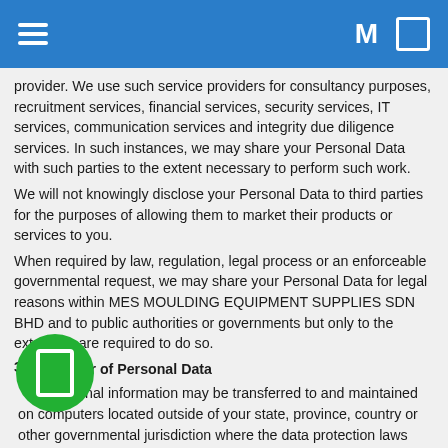M
provider. We use such service providers for consultancy purposes, recruitment services, financial services, security services, IT services, communication services and integrity due diligence services. In such instances, we may share your Personal Data with such parties to the extent necessary to perform such work.
We will not knowingly disclose your Personal Data to third parties for the purposes of allowing them to market their products or services to you.
When required by law, regulation, legal process or an enforceable governmental request, we may share your Personal Data for legal reasons within MES MOULDING EQUIPMENT SUPPLIES SDN BHD and to public authorities or governments but only to the extent we are required to do so.
3. Transfer of Personal Data
Personal information may be transferred to and maintained on computers located outside of your state, province, country or other governmental jurisdiction where the data protection laws may differ than those from your jurisdiction.